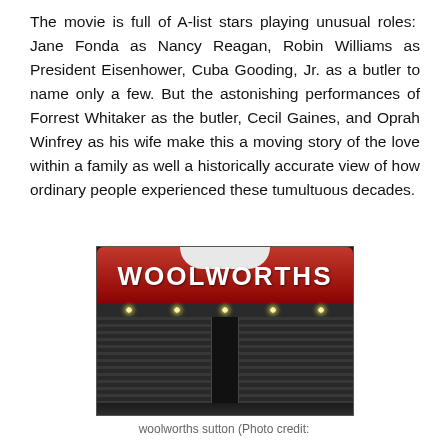The movie is full of A-list stars playing unusual roles: Jane Fonda as Nancy Reagan, Robin Williams as President Eisenhower, Cuba Gooding, Jr. as a butler to name only a few. But the astonishing performances of Forrest Whitaker as the butler, Cecil Gaines, and Oprah Winfrey as his wife make this a moving story of the love within a family as well a historically accurate view of how ordinary people experienced these tumultuous decades.
[Figure (photo): Exterior photo of a Woolworths store at night with a large red sign reading WOOLWORTHS, metal security shutters closed across the storefront.]
woolworths sutton (Photo credit: